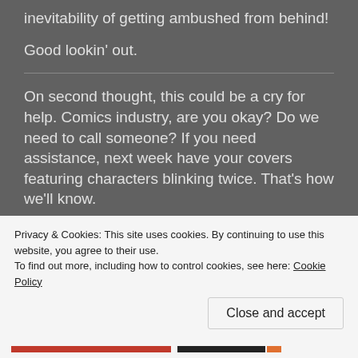inevitability of getting ambushed from behind!
Good lookin' out.
On second thought, this could be a cry for help. Comics industry, are you okay? Do we need to call someone? If you need assistance, next week have your covers featuring characters blinking twice. That’s how we’ll know.
Privacy & Cookies: This site uses cookies. By continuing to use this website, you agree to their use.
To find out more, including how to control cookies, see here: Cookie Policy
Close and accept